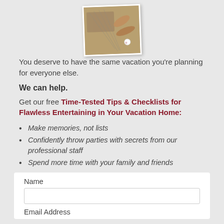[Figure (photo): A photo of kitchen utensils including a grater and wooden spoons, styled as a physical photograph with a white border and slight rotation, with a small tag in the corner.]
You deserve to have the same vacation you're planning for everyone else.
We can help.
Get our free Time-Tested Tips & Checklists for Flawless Entertaining in Your Vacation Home:
Make memories, not lists
Confidently throw parties with secrets from our professional staff
Spend more time with your family and friends
Name
Email Address